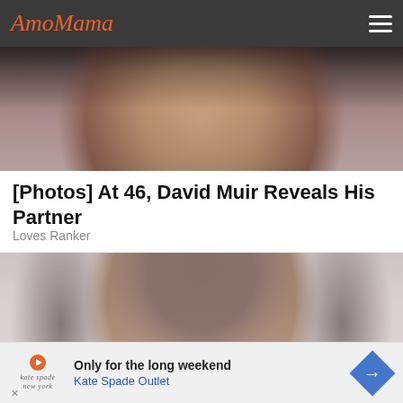AmoMama
[Figure (photo): Close-up photo of a man's face, showing his lower face with stubble beard and part of his chin and lips, dark background]
[Photos] At 46, David Muir Reveals His Partner
Loves Ranker
[Figure (photo): Photo of a woman with big dark curly hair, dramatic eye makeup, pale/faded appearance, looking directly at camera]
Only for the long weekend Kate Spade Outlet